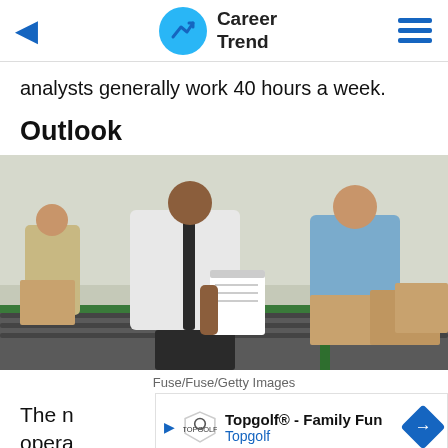Career Trend
analysts generally work 40 hours a week.
Outlook
[Figure (photo): A person in a white shirt and dark tie holding a clipboard reviewing notes, with another person in a blue shirt handling cardboard boxes on a conveyor belt in a warehouse/logistics facility. Additional worker visible in background.]
Fuse/Fuse/Getty Images
The n opera